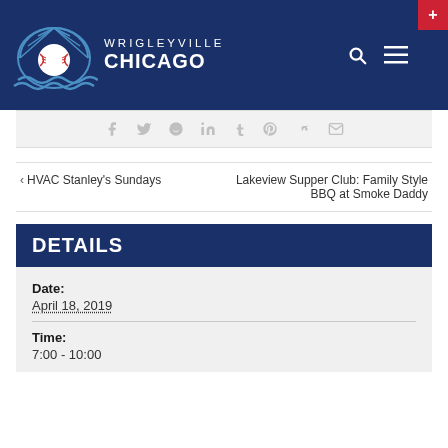WRIGLEYVILLE CHICAGO
[Figure (logo): Wrigleyville Chicago logo with baseball and water waves icon]
< HVAC Stanley's Sundays
Lakeview Supper Club: Family Style BBQ at Smoke Daddy
DETAILS
Date:
April 18, 2019
Time:
7:00 - 10:00